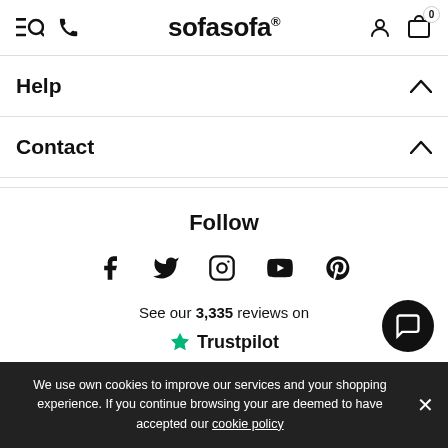sofasofa
Help
Contact
Follow
[Figure (infographic): Social media icons: Facebook, Twitter, Instagram, YouTube, Pinterest]
See our 3,335 reviews on Trustpilot
We use own cookies to improve our services and your shopping experience. If you continue browsing your are deemed to have accepted our cookie policy